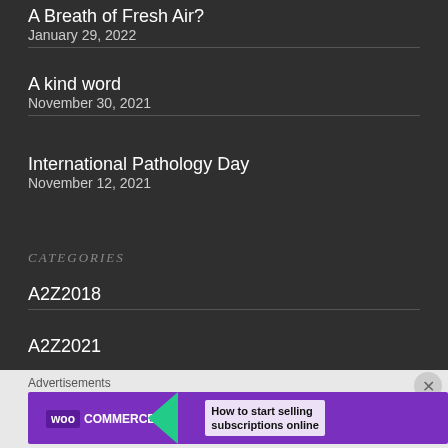A Breath of Fresh Air?
January 29, 2022
A kind word
November 30, 2021
International Pathology Day
November 12, 2021
CATEGORIES
A2Z2018
A2Z2021
Advertisements
WooCommerce – How to start selling subscriptions online